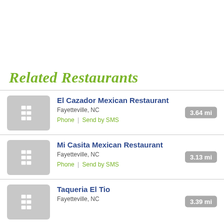Related Restaurants
El Cazador Mexican Restaurant | Fayetteville, NC | 3.64 mi | Phone | Send by SMS
Mi Casita Mexican Restaurant | Fayetteville, NC | 3.13 mi | Phone | Send by SMS
Taqueria El Tio | Fayetteville, NC | 3.39 mi